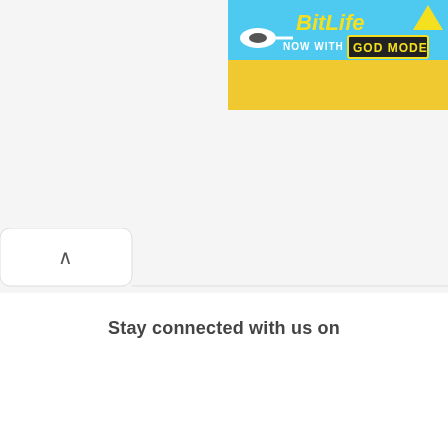[Figure (screenshot): BitLife advertisement banner with cyan/blue background showing 'BitLife NOW WITH GOD MODE' text]
[Figure (screenshot): A tab/accordion toggle button with an upward chevron (^) arrow on white background with rounded top corners]
Stay connected with us on